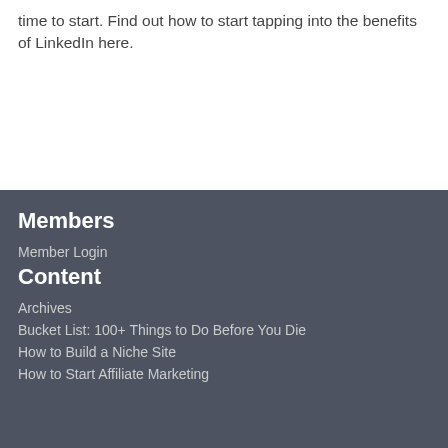time to start. Find out how to start tapping into the benefits of LinkedIn here.
Members
Member Login
Content
Archives
Bucket List: 100+ Things to Do Before You Die
How to Build a Niche Site
How to Start Affiliate Marketing